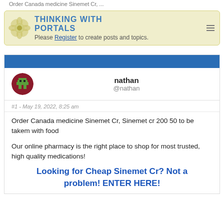Order Canada medicine Sinemet Cr, ...
[Figure (logo): Thinking With Portals forum logo with gear/flower icon and text. Banner also contains: Please Register to create posts and topics.]
nathan
@nathan
#1 - May 19, 2022, 8:25 am
Order Canada medicine Sinemet Cr, Sinemet cr 200 50 to be takem with food

Our online pharmacy is the right place to shop for most trusted, high quality medications!
Looking for Cheap Sinemet Cr? Not a problem! ENTER HERE!